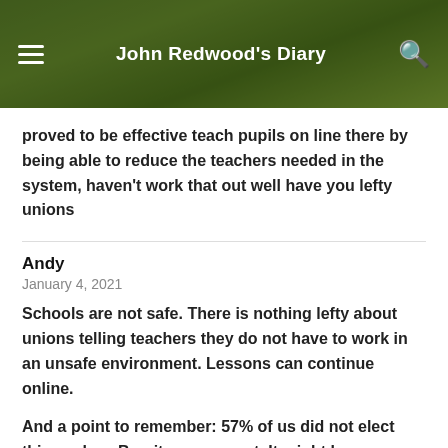John Redwood's Diary
proved to be effective teach pupils on line there by being able to reduce the teachers needed in the system, haven't work that out well have you lefty unions
Andy
January 4, 2021
Schools are not safe. There is nothing lefty about unions telling teachers they do not have to work in an unsafe environment. Lessons can continue online.
And a point to remember: 57% of us did not elect this useless Brexit government. It might have a majority in Parliament but it does not have the backing of the majority of the people. We